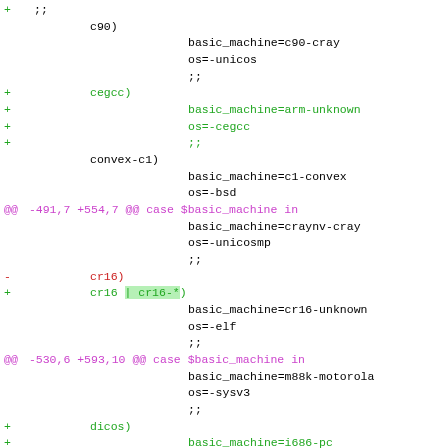Code diff showing changes to a shell script for machine type configuration. Includes additions for cegcc, cr16/cr16-*, and dicos targets.